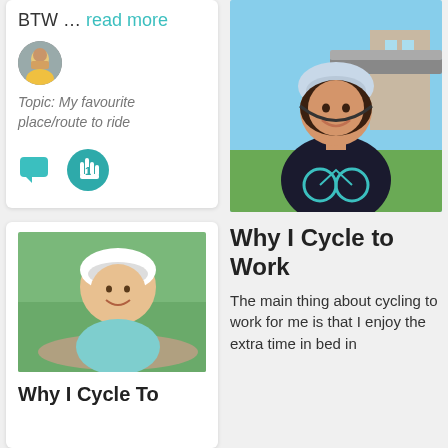BTW ... read more
[Figure (photo): Small circular avatar photo of a person in a yellow jacket outdoors]
Topic: My favourite place/route to ride
[Figure (illustration): Teal speech bubble icon and teal hand icon with number 1]
[Figure (photo): Person wearing a white cycling helmet and teal jacket, selfie in a park]
Why I Cycle To
[Figure (photo): Woman wearing a cycling helmet and dark t-shirt with bicycle graphic, smiling selfie outdoors]
Why I Cycle to Work
The main thing about cycling to work for me is that I enjoy the extra time in bed in